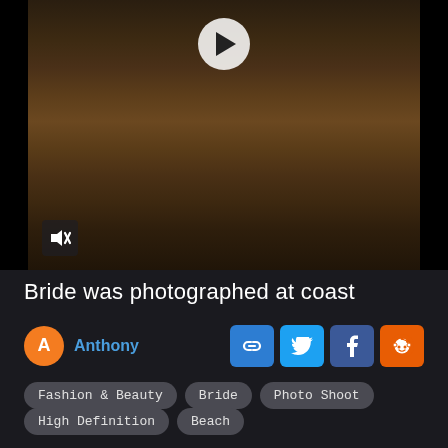[Figure (screenshot): Video thumbnail of a bride photographed at coast, showing rocky surface with water, a play button overlay at top center and a mute button at bottom left. Dark black bars on left and right sides of the video.]
Bride was photographed at coast
Anthony
Fashion & Beauty
Bride
Photo Shoot
High Definition
Beach